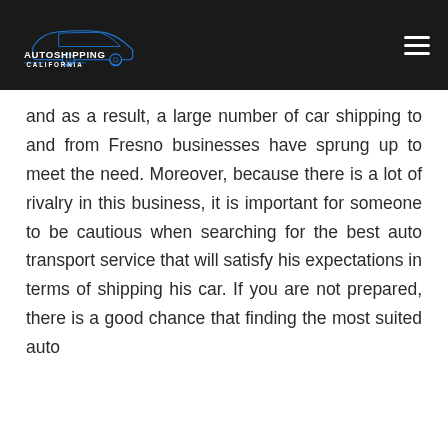[Figure (logo): AutoShipping California logo with blue car silhouette on dark background and hamburger menu icon]
and as a result, a large number of car shipping to and from Fresno businesses have sprung up to meet the need. Moreover, because there is a lot of rivalry in this business, it is important for someone to be cautious when searching for the best auto transport service that will satisfy his expectations in terms of shipping his car. If you are not prepared, there is a good chance that finding the most suited auto